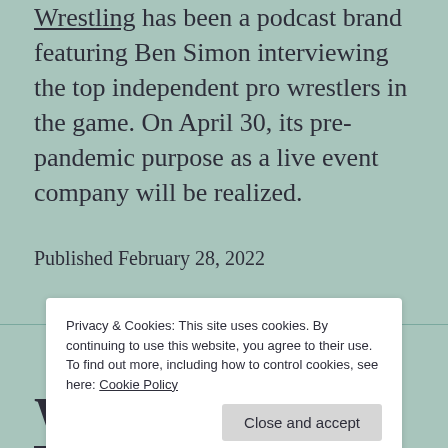Wrestling has been a podcast brand featuring Ben Simon interviewing the top independent pro wrestlers in the game. On April 30, its pre-pandemic purpose as a live event company will be realized.
Published February 28, 2022
Privacy & Cookies: This site uses cookies. By continuing to use this website, you agree to their use. To find out more, including how to control cookies, see here: Cookie Policy
Close and accept
Welcome to